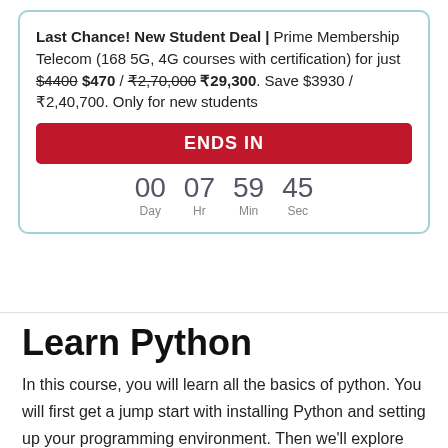Last Chance! New Student Deal | Prime Membership Telecom (168 5G, 4G courses with certification) for just $4400 $470 / ₹2,70,000 ₹29,300. Save $3930 / ₹2,40,700. Only for new students
[Figure (other): Red ENDS IN button with countdown timer showing 00 Day, 07 Hr, 59 Min, 45 Sec]
Learn Python
In this course, you will learn all the basics of python. You will first get a jump start with installing Python and setting up your programming environment. Then we'll explore the basic concepts of Python,